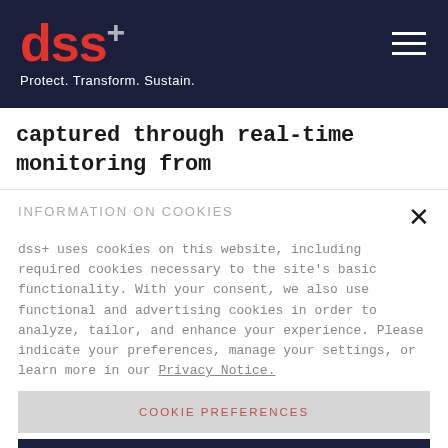dss+ Protect. Transform. Sustain.
captured through real-time monitoring from
INFORMATION ON COOKIES
dss+ uses cookies on this website, including required cookies necessary to the site's basic functionality. With your consent, we also use functional and advertising cookies in order to analyze, tailor, and enhance your experience. Please indicate your preferences, manage your settings, or learn more in our Privacy Notice.
COOKIE PREFERENCES
DECLINE COOKIES
ALLOW COOKIES